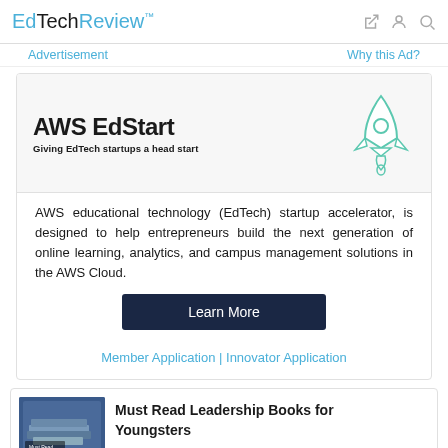EdTechReview
Advertisement    Why this Ad?
[Figure (logo): AWS EdStart logo with rocket illustration. Text: AWS EdStart — Giving EdTech startups a head start]
AWS educational technology (EdTech) startup accelerator, is designed to help entrepreneurs build the next generation of online learning, analytics, and campus management solutions in the AWS Cloud.
Learn More
Member Application | Innovator Application
Must Read Leadership Books for Youngsters